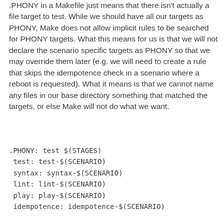.PHONY in a Makefile just means that there isn't actually a file target to test. While we should have all our targets as PHONY, Make does not allow implicit rules to be searched for PHONY targets. What this means for us is that we will not declare the scenario specific targets as PHONY so that we may override them later (e.g. we will need to create a rule that skips the idempotence check in a scenario where a reboot is requested). What it means is that we cannot name any files in our base directory something that matched the targets, or else Make will not do what we want.
.PHONY: test $(STAGES)
test: test-$(SCENARIO)
syntax: syntax-$(SCENARIO)
lint: lint-$(SCENARIO)
play: play-$(SCENARIO)
idempotence: idempotence-$(SCENARIO)